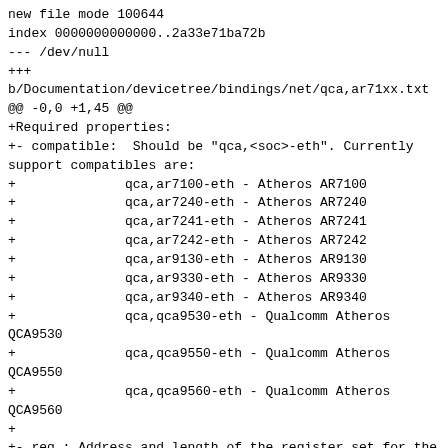new file mode 100644
index 0000000000000..2a33e71ba72b
--- /dev/null
+++
b/Documentation/devicetree/bindings/net/qca,ar71xx.txt
@@ -0,0 +1,45 @@
+Required properties:
+- compatible:  Should be "qca,<soc>-eth". Currently support compatibles are:
+              qca,ar7100-eth - Atheros AR7100
+              qca,ar7240-eth - Atheros AR7240
+              qca,ar7241-eth - Atheros AR7241
+              qca,ar7242-eth - Atheros AR7242
+              qca,ar9130-eth - Atheros AR9130
+              qca,ar9330-eth - Atheros AR9330
+              qca,ar9340-eth - Atheros AR9340
+              qca,qca9530-eth - Qualcomm Atheros QCA9530
+              qca,qca9550-eth - Qualcomm Atheros QCA9550
+              qca,qca9560-eth - Qualcomm Atheros QCA9560
+
+- reg : Address and length of the register set for the device
+- interrupts : Should contain eth interrupt
+- phy-mode : See ethernet.txt file in the same directory
+- clocks: the clock used by the core
+- clock-names: the names of the clock listed in the